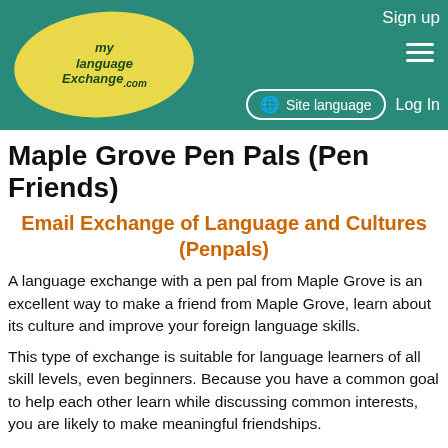Sign up | Site language | Log In
[Figure (logo): MyLanguageExchange.com logo — yellow oval with cursive text on teal background]
Maple Grove Pen Pals (Pen Friends)
Email Exchange of Language and Cultures (Penpals)
A language exchange with a pen pal from Maple Grove is an excellent way to make a friend from Maple Grove, learn about its culture and improve your foreign language skills.
This type of exchange is suitable for language learners of all skill levels, even beginners. Because you have a common goal to help each other learn while discussing common interests, you are likely to make meaningful friendships.
Compared to live conversation, there is less pressure, because you can take your time to use a dictionary or refer to your lessons at a time of your convenience. It is also a great way to improve your writing, reading and grammar skills.